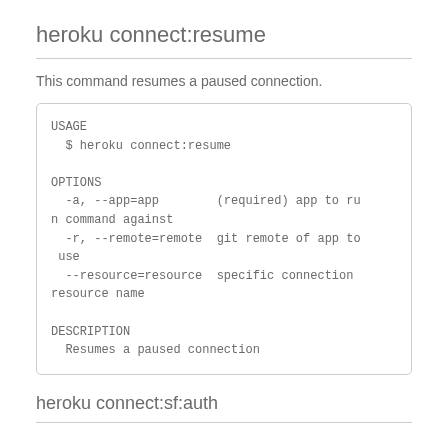heroku connect:resume
This command resumes a paused connection.
USAGE
  $ heroku connect:resume

OPTIONS
  -a, --app=app        (required) app to run command against
  -r, --remote=remote  git remote of app to use
  --resource=resource  specific connection resource name

DESCRIPTION
  Resumes a paused connection
heroku connect:sf:auth